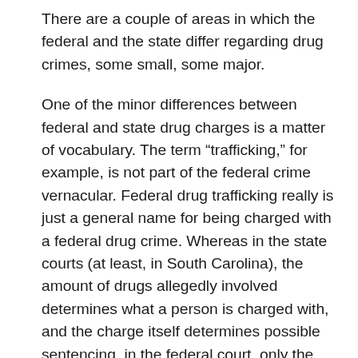There are a couple of areas in which the federal and the state differ regarding drug crimes, some small, some major.
One of the minor differences between federal and state drug charges is a matter of vocabulary. The term “trafficking,” for example, is not part of the federal crime vernacular. Federal drug trafficking really is just a general name for being charged with a federal drug crime. Whereas in the state courts (at least, in South Carolina), the amount of drugs allegedly involved determines what a person is charged with, and the charge itself determines possible sentencing, in the federal court, only the type and the weight of the particular drug